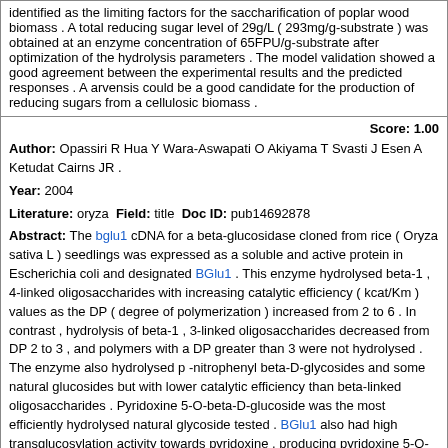identified as the limiting factors for the saccharification of poplar wood biomass . A total reducing sugar level of 29g/L ( 293mg/g-substrate ) was obtained at an enzyme concentration of 65FPU/g-substrate after optimization of the hydrolysis parameters . The model validation showed a good agreement between the experimental results and the predicted responses . A arvensis could be a good candidate for the production of reducing sugars from a cellulosic biomass .
Score: 1.00
Author: Opassiri R Hua Y Wara-Aswapati O Akiyama T Svasti J Esen A Ketudat Cairns JR .
Year: 2004
Literature: oryza Field: title Doc ID: pub14692878
Abstract: The bglu1 cDNA for a beta-glucosidase cloned from rice ( Oryza sativa L ) seedlings was expressed as a soluble and active protein in Escherichia coli and designated BGlu1 . This enzyme hydrolysed beta-1 , 4-linked oligosaccharides with increasing catalytic efficiency ( kcat/Km ) values as the DP ( degree of polymerization ) increased from 2 to 6 . In contrast , hydrolysis of beta-1 , 3-linked oligosaccharides decreased from DP 2 to 3 , and polymers with a DP greater than 3 were not hydrolysed . The enzyme also hydrolysed p -nitrophenyl beta-D-glycosides and some natural glucosides but with lower catalytic efficiency than beta-linked oligosaccharides . Pyridoxine 5-O-beta-D-glucoside was the most efficiently hydrolysed natural glycoside tested . BGlu1 also had high transglucosylation activity towards pyridoxine , producing pyridoxine 5-O-beta-D-glucopyranoside in the presence of the glucose donor p-nitrophenyl beta-D-glucoside .
Matching Sentences:
[ Sen. 1, subscore: 1.00 ]: Beta-glucosidase , exo-beta-glucanase